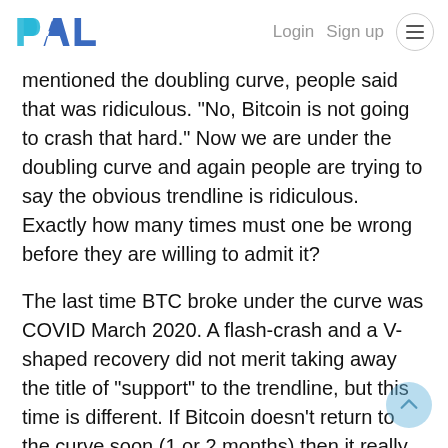PAL  Login  Sign up
mentioned the doubling curve, people said that was ridiculous. "No, Bitcoin is not going to crash that hard." Now we are under the doubling curve and again people are trying to say the obvious trendline is ridiculous. Exactly how many times must one be wrong before they are willing to admit it?
The last time BTC broke under the curve was COVID March 2020. A flash-crash and a V-shaped recovery did not merit taking away the title of "support" to the trendline, but this time is different. If Bitcoin doesn't return to the curve soon (1 or 2 months) then it really only acts as support when the legacy economy and the stock market are in a bull market. We've never